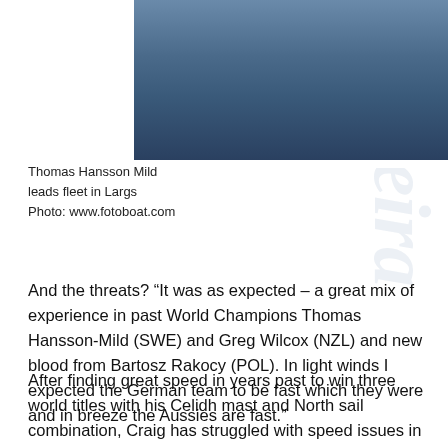[Figure (photo): Sailing photo showing Thomas Hansson Mild leading fleet in Largs, boats on water with sail visible, watermark www.fotoboat.com]
Thomas Hansson Mild leads fleet in Largs Photo: www.fotoboat.com
And the threats? “It was as expected – a great mix of experience in past World Champions Thomas Hansson-Mild (SWE) and Greg Wilcox (NZL) and new blood from Bartosz Rakocy (POL). In light winds I expected the German team to be fast which they were and in breeze the Aussies are fast.”
After finding great speed in years past to win three world titles with his Celidh mast and North sail combination, Craig has struggled with speed issues in recent years, after the rest of the world caught up. And to some extent this still dogged him in Largs. “The biggest challenge was my lack of pace in the very light airs. I was just off the pace upwind in sub-hiking conditions, which made life very difficult on the